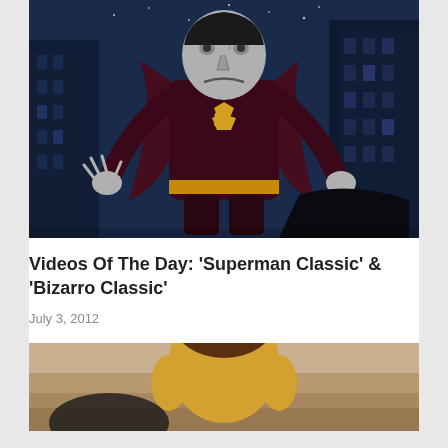[Figure (illustration): Animated illustration of Bizarro Superman character in a dark city setting, wearing a Superman costume with an S emblem, crouching menacingly against a night cityscape background]
Videos Of The Day: ‘Superman Classic’ & ‘Bizarro Classic’
July 3, 2012
[Figure (photo): Partial photo showing a person in a yellow/gold outfit, cropped at the bottom of the page]